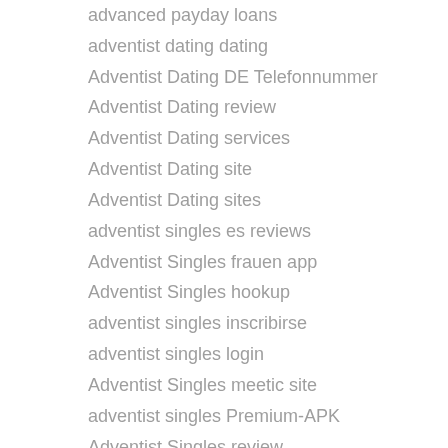advanced payday loans
adventist dating dating
Adventist Dating DE Telefonnummer
Adventist Dating review
Adventist Dating services
Adventist Dating site
Adventist Dating sites
adventist singles es reviews
Adventist Singles frauen app
Adventist Singles hookup
adventist singles inscribirse
adventist singles login
Adventist Singles meetic site
adventist singles Premium-APK
Adventist Singles review
Adventist Singles reviews
adventist singles sign in
adventist singles strony takie jak
Adventist Singles sul web